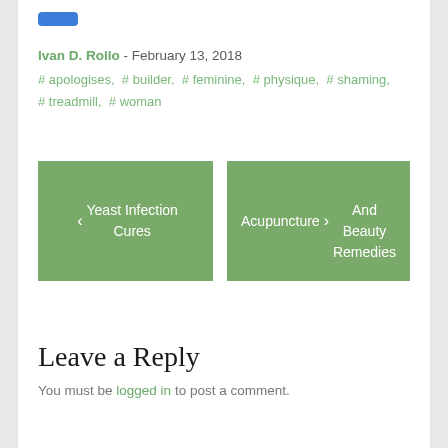[Figure (other): Small blue button/badge at the top]
Ivan D. Rollo - February 13, 2018
# apologises, # builder, # feminine, # physique, # shaming, # treadmill, # woman
‹ Yeast Infection Cures
Acupuncture And Beauty Remedies ›
Leave a Reply
You must be logged in to post a comment.